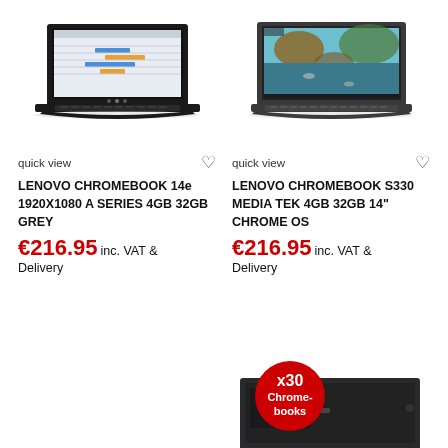[Figure (photo): Lenovo Chromebook 14e laptop open, showing a spreadsheet/Gantt chart on screen, black body]
quick view
LENOVO CHROMEBOOK 14e 1920X1080 A SERIES 4GB 32GB GREY
€216.95 inc. VAT & Delivery
[Figure (photo): Lenovo Chromebook S330 laptop open, showing a nature/underwater scene on screen, grey body]
quick view
LENOVO CHROMEBOOK S330 MEDIA TEK 4GB 32GB 14" CHROME OS
€216.95 inc. VAT & Delivery
[Figure (photo): Bottom partial: x30 Chromebooks red badge circle and a dark mini-PC/Chromebox device partially visible]